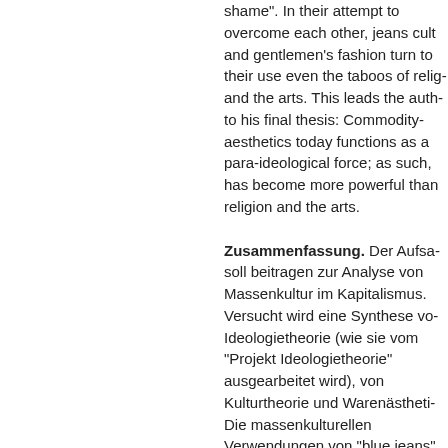shame". In their attempt to overcome each other, jeans cult and gentlemen's fashion turn to their use even the taboos of religion and the arts. This leads the author to his final thesis: Commodity-aesthetics today functions as a para-ideological force; as such, has become more powerful than religion and the arts.
Zusammenfassung. Der Aufsatz soll beitragen zur Analyse von Massenkultur im Kapitalismus. Versucht wird eine Synthese von Ideologietheorie (wie sie vom "Projekt Ideologietheorie" ausgearbeitet wird), von Kulturtheorie und Warenästhetik. Die massenkulturellen Verwendungen von "blue jeans" dienen als Material für eine exemplarische Analyse. Diese Analyse hat zum Ziel, das